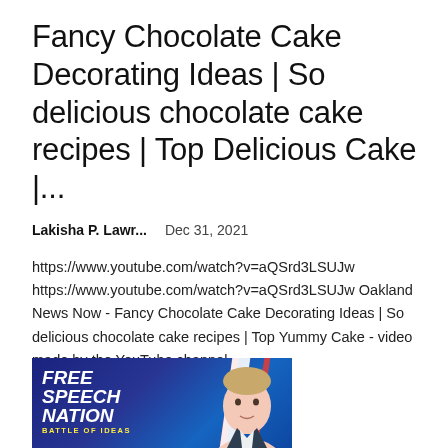Fancy Chocolate Cake Decorating Ideas | So delicious chocolate cake recipes | Top Delicious Cake |...
Lakisha P. Lawr...    Dec 31, 2021
https://www.youtube.com/watch?v=aQSrd3LSUJw https://www.youtube.com/watch?v=aQSrd3LSUJw Oakland News Now - Fancy Chocolate Cake Decorating Ideas | So delicious chocolate cake recipes | Top Yummy Cake - video made by the YouTube channel...
[Figure (photo): Advertisement banner for 'Free Speech Nation - Battle of Ideas' showing a man's face on a blue background with flag-like red and white stripes]